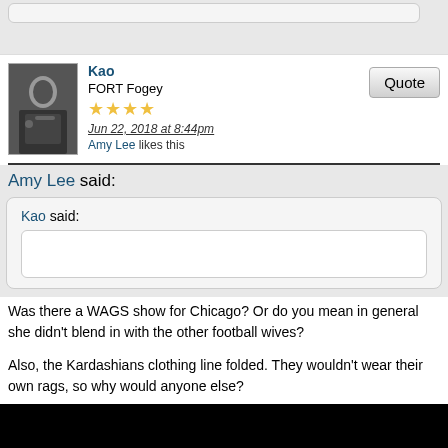Kao
FORT Fogey
★★★★
Jun 22, 2018 at 8:44pm
Amy Lee likes this
Amy Lee said:
Kao said:
Was there a WAGS show for Chicago? Or do you mean in general she didn't blend in with the other football wives?

Also, the Kardashians clothing line folded. They wouldn't wear their own rags, so why would anyone else?

I remember Blake's line. It barely made it to two years, I think.